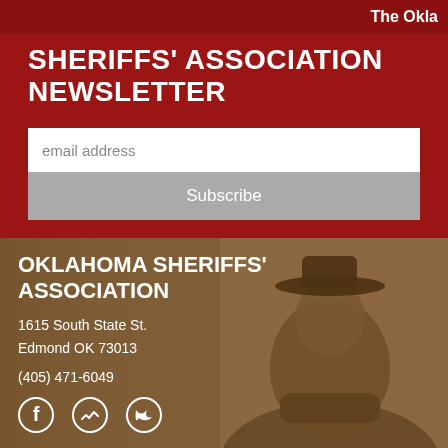The Okla
SHERIFFS' ASSOCIATION NEWSLETTER
email address
Subscribe
OKLAHOMA SHERIFFS' ASSOCIATION
1615 South State St.
Edmond OK 73013
(405) 471-6049
[Figure (photo): Sepia-toned historical photograph of a man wearing a wide-brim hat, mustache, and vest, standing with arms crossed — likely a historical Oklahoma sheriff]
[Figure (infographic): Social media icons: Facebook, Messenger, Twitter]